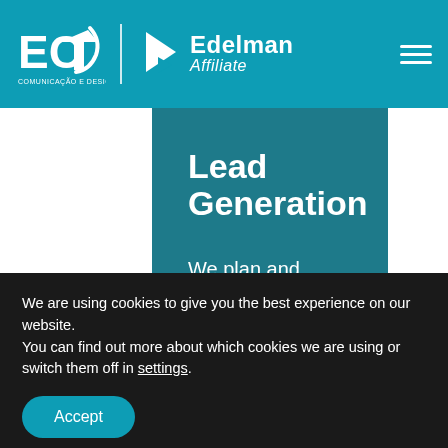[Figure (logo): EC Comunicacao e Design logo and Edelman Affiliate logo in teal header with hamburger menu]
Lead Generation
We plan and execute marketing actions that will make your company reach your target, helping to achieve sales.
We are using cookies to give you the best experience on our website.
You can find out more about which cookies we are using or switch them off in settings.
Accept